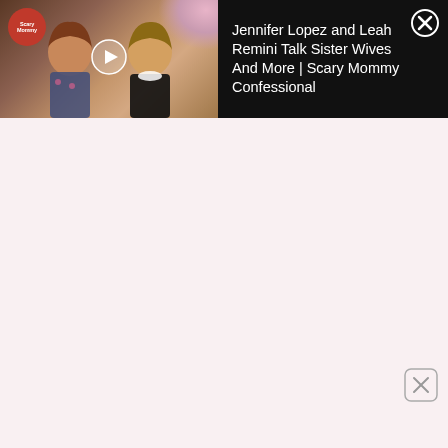[Figure (screenshot): Video thumbnail showing two women (Jennifer Lopez and Leah Remini) side by side with a play button overlay and Scary Mommy logo badge in top-left corner]
Jennifer Lopez and Leah Remini Talk Sister Wives And More | Scary Mommy Confessional